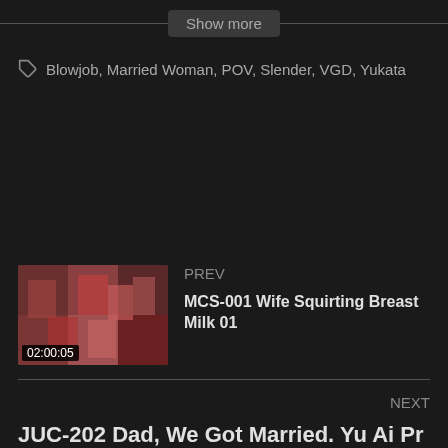Show more
Blowjob, Married Woman, POV, Slender, VGD, Yukata
[Figure (screenshot): Thumbnail image of video MCS-001 Wife Squirting Breast Milk 01, duration 02:00:05]
PREV
MCS-001 Wife Squirting Breast Milk 01
NEXT
JUC-202 Dad, We Got Married. Yu Ai Pr
02:00:23